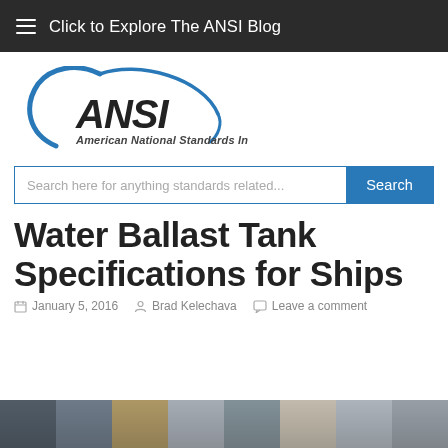Click to Explore The ANSI Blog
[Figure (logo): ANSI American National Standards Institute logo — blue arc with bold ANSI text and italic subtitle]
Search here for anything standards related...
Water Ballast Tank Specifications for Ships
January 5, 2016   Brad Kelechava   Leave a comment
[Figure (photo): Bottom strip of thumbnail photos showing ships and industrial/port scenes]